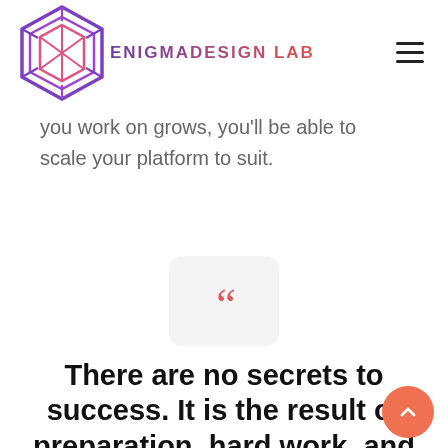ENIGMADESIGN LAB
you work on grows, you'll be able to scale your platform to suit.
[Figure (illustration): Large coral/red quotation mark icon inside a light gray rounded rectangle box, centered on the page.]
There are no secrets to success. It is the result of preparation, hard work, and learning from failure.